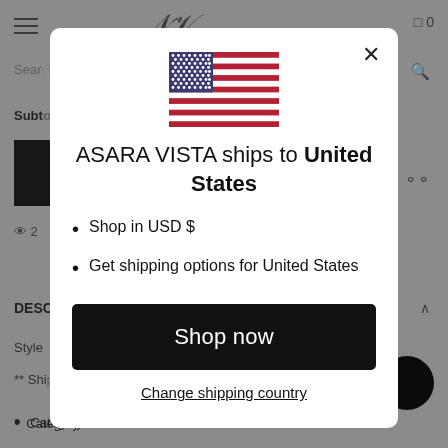[Figure (screenshot): Background e-commerce website page (Asara Vista) with hamburger menu, logo, search bar, product image, and page elements visible but greyed out behind modal overlay]
[Figure (illustration): US flag SVG illustration displayed in the modal dialog]
ASARA VISTA ships to United States
Shop in USD $
Get shipping options for United States
Shop now
Change shipping country
Category: Pants